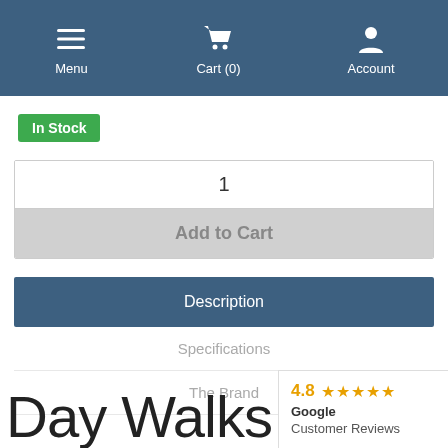[Figure (screenshot): Navigation bar with Menu (hamburger icon), Cart (0) (shopping cart icon), and Account (person icon) on a steel-blue background]
In Stock
1
Add to Cart
Description
Specifications
The Brand
Day Walks Tas
4.8 ★★★★★ Google Customer Reviews